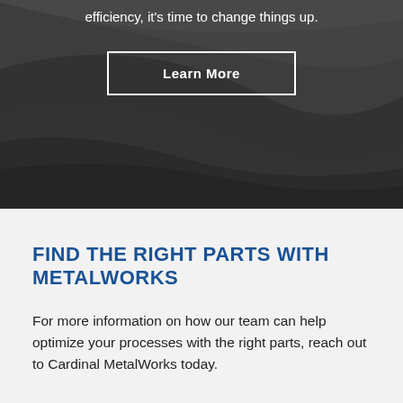efficiency, it's time to change things up.
[Figure (illustration): Dark gray abstract curved metallic background with swooping layered surfaces]
Learn More
FIND THE RIGHT PARTS WITH METALWORKS
For more information on how our team can help optimize your processes with the right parts, reach out to Cardinal MetalWorks today.